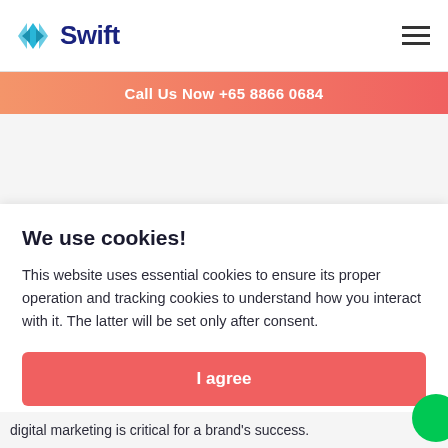Swift
Call Us Now +65 8866 0684
We use cookies!
This website uses essential cookies to ensure its proper operation and tracking cookies to understand how you interact with it. The latter will be set only after consent.
I agree
Customize
digital marketing is critical for a brand's success.